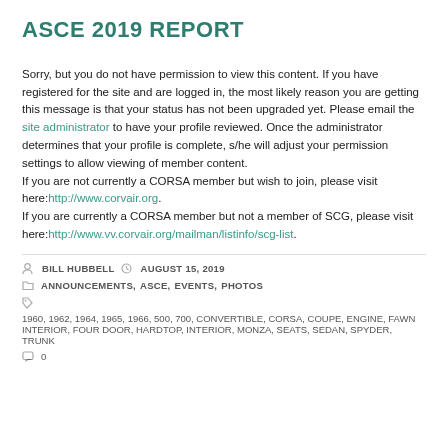ASCE 2019 REPORT
Sorry, but you do not have permission to view this content. If you have registered for the site and are logged in, the most likely reason you are getting this message is that your status has not been upgraded yet. Please email the site administrator to have your profile reviewed. Once the administrator determines that your profile is complete, s/he will adjust your permission settings to allow viewing of member content.
If you are not currently a CORSA member but wish to join, please visit here:http://www.corvair.org.
If you are currently a CORSA member but not a member of SCG, please visit here:http://www.vv.corvair.org/mailman/listinfo/scg-list.
BILL HUBBELL   AUGUST 15, 2019
ANNOUNCEMENTS, ASCE, EVENTS, PHOTOS
1960, 1962, 1964, 1965, 1966, 500, 700, CONVERTIBLE, CORSA, COUPE, ENGINE, FAWN INTERIOR, FOUR DOOR, HARDTOP, INTERIOR, MONZA, SEATS, SEDAN, SPYDER, TRUNK
0